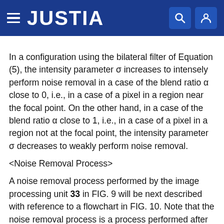JUSTIA
In a configuration using the bilateral filter of Equation (5), the intensity parameter σ increases to intensely perform noise removal in a case of the blend ratio α close to 0, i.e., in a case of a pixel in a region near the focal point. On the other hand, in a case of the blend ratio α close to 1, i.e., in a case of a pixel in a region not at the focal point, the intensity parameter σ decreases to weakly perform noise removal.
<Noise Removal Process>
A noise removal process performed by the image processing unit 33 in FIG. 9 will be next described with reference to a flowchart in FIG. 10. Note that the noise removal process is a process performed after processing in step S16 in FIG. 5 described above, that is, a process performed after a divided pixel image and a